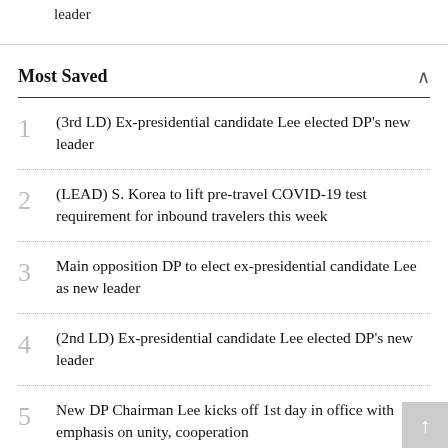leader
Most Saved
1 (3rd LD) Ex-presidential candidate Lee elected DP's new leader
2 (LEAD) S. Korea to lift pre-travel COVID-19 test requirement for inbound travelers this week
3 Main opposition DP to elect ex-presidential candidate Lee as new leader
4 (2nd LD) Ex-presidential candidate Lee elected DP's new leader
5 New DP Chairman Lee kicks off 1st day in office with emphasis on unity, cooperation